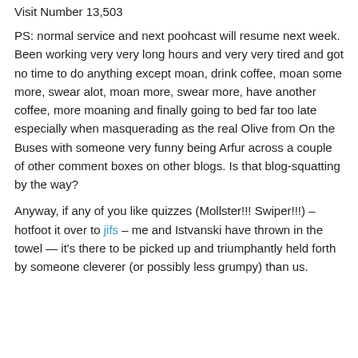Visit Number 13,503
PS: normal service and next poohcast will resume next week. Been working very very long hours and very very tired and got no time to do anything except moan, drink coffee, moan some more, swear alot, moan more, swear more, have another coffee, more moaning and finally going to bed far too late especially when masquerading as the real Olive from On the Buses with someone very funny being Arfur across a couple of other comment boxes on other blogs. Is that blog-squatting by the way?
Anyway, if any of you like quizzes (Mollster!!! Swiper!!!) – hotfoot it over to jifs – me and Istvanski have thrown in the towel — it's there to be picked up and triumphantly held forth by someone cleverer (or possibly less grumpy) than us.